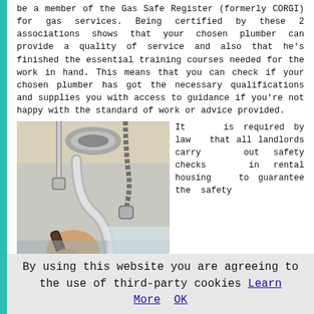be a member of the Gas Safe Register (formerly CORGI) for gas services. Being certified by these 2 associations shows that your chosen plumber can provide a quality of service and also that he's finished the essential training courses needed for the work in hand. This means that you can check if your chosen plumber has got the necessary qualifications and supplies you with access to guidance if you're not happy with the standard of work or advice provided.
[Figure (photo): A person using a wrench to work on plumbing pipes beneath a sink, showing chrome P-trap and water supply lines.]
It is required by law that all landlords carry out safety checks in rental housing to guarantee the safety of all appliances. This legal requirement doesn't apply to normal house owners although getting safety inspections is certainly a smart move for your own peace of mind. Existing
By using this website you are agreeing to the use of third-party cookies Learn More  OK